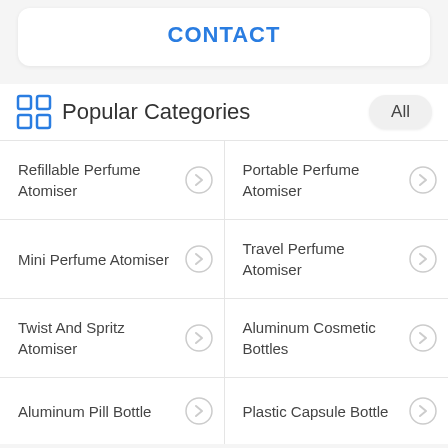CONTACT
Popular Categories
Refillable Perfume Atomiser
Portable Perfume Atomiser
Mini Perfume Atomiser
Travel Perfume Atomiser
Twist And Spritz Atomiser
Aluminum Cosmetic Bottles
Aluminum Pill Bottle
Plastic Capsule Bottle